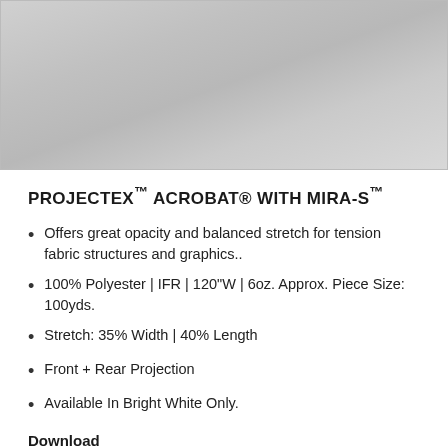[Figure (photo): Metallic silver-gray fabric texture photograph showing the Projectex Acrobat with Mira-S material]
PROJECTEX™ ACROBAT® WITH MIRA-S™
Offers great opacity and balanced stretch for tension fabric structures and graphics..
100% Polyester | IFR | 120"W | 6oz. Approx. Piece Size: 100yds.
Stretch: 35% Width | 40% Length
Front + Rear Projection
Available In Bright White Only.
Download